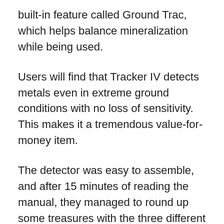built-in feature called Ground Trac, which helps balance mineralization while being used.
Users will find that Tracker IV detects metals even in extreme ground conditions with no loss of sensitivity. This makes it a tremendous value-for-money item.
The detector was easy to assemble, and after 15 minutes of reading the manual, they managed to round up some treasures with the three different detection modes, which made it even more impressive.
Bounty Hunter Tracker IV Metal Detector, Some of them said that the detector could easily identify